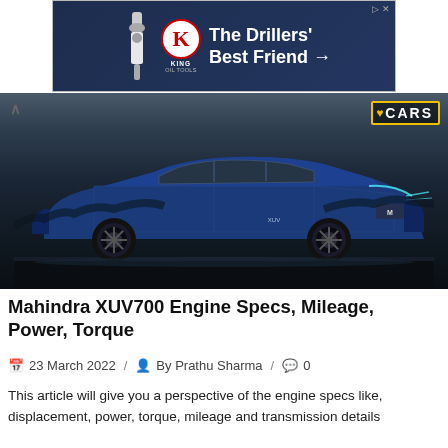[Figure (photo): King Oil Tools advertisement banner with dark blue background, red K logo, crown icon, drill tool icon, and white text 'The Drillers' Best Friend →']
[Figure (photo): Blue Mahindra XUV700 SUV photographed on a track with dramatic dark sky. 'CARS' logo with yellow heart in top right corner.]
Mahindra XUV700 Engine Specs, Mileage, Power, Torque
23 March 2022  /  By Prathu Sharma  /  0
This article will give you a perspective of the engine specs like, displacement, power, torque, mileage and transmission details